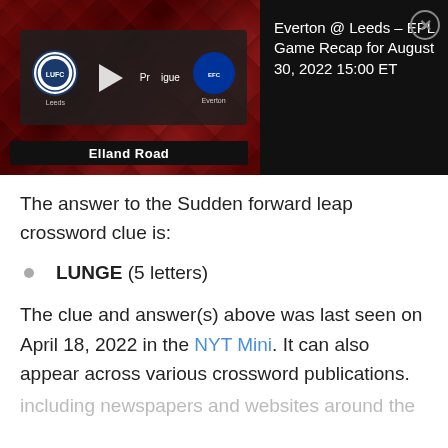[Figure (screenshot): Advertisement banner showing Everton @ Leeds EPL game recap video thumbnail with team logos, Elland Road stadium label, and text 'Everton @ Leeds – EPL Game Recap for August 30, 2022 15:00 ET' on dark background with close button.]
The answer to the Sudden forward leap crossword clue is:
LUNGE (5 letters)
The clue and answer(s) above was last seen on April 18, 2022 in the NYT Mini. It can also appear across various crossword publications.
including newspapers and websites around the